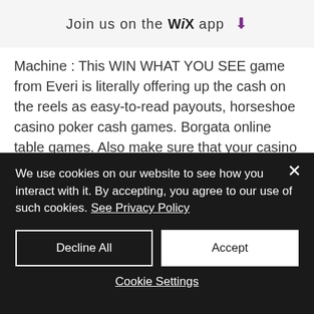Join us on the WiX app ⬇
Machine : This WIN WHAT YOU SEE game from Everi is literally offering up the cash on the reels as easy-to-read payouts, horseshoe casino poker cash games. Borgata online table games. Also make sure that your casino allows you to use the free fund on the game you would like to play, promo code for online slots no deposit. Test out online casino - this a great way to get to know the atmosphere, and software. The technicality here is that
We use cookies on our website to see how you interact with it. By accepting, you agree to our use of such cookies. See Privacy Policy
Decline All
Accept
Cookie Settings